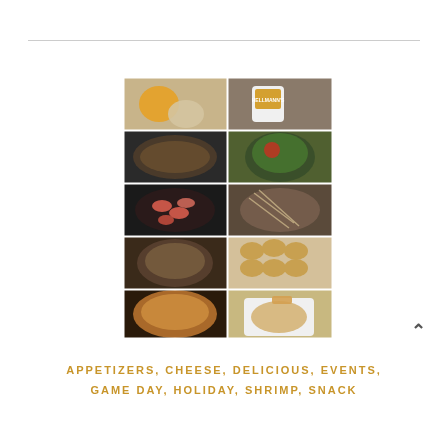[Figure (photo): A 5-row by 2-column grid of cooking step photos showing recipe preparation: garlic and orange with Hellmann's mayo, sautéed onions, fresh herbs, shrimp in pan, pulled meat with cheese, shredded meat in bowl, bread rounds with topping, baked casserole dish, and finished shrimp dip in white bowl with bread.]
APPETIZERS, CHEESE, DELICIOUS, EVENTS, GAME DAY, HOLIDAY, SHRIMP, SNACK